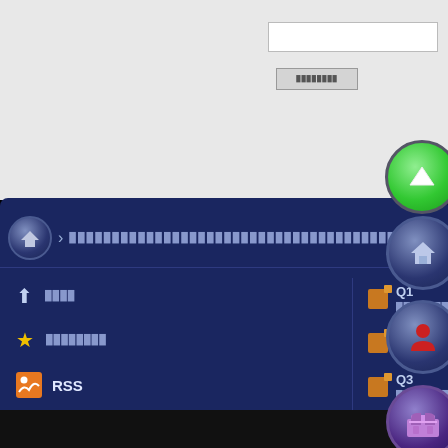[Figure (screenshot): Web interface screenshot showing a dark blue navigation panel with breadcrumb, left navigation menu items with icons (home, star, RSS, settings, mail, monitor), and right column with Q1-Q5 items. Multiple circular button icons on the right side (green up arrow, home, person, store, star+). Search box area at top.]
RSS
Q1 ████████
Q2 ████████
Q3 ████████
Q4 xvideos FC2████████
Q5 ██████████